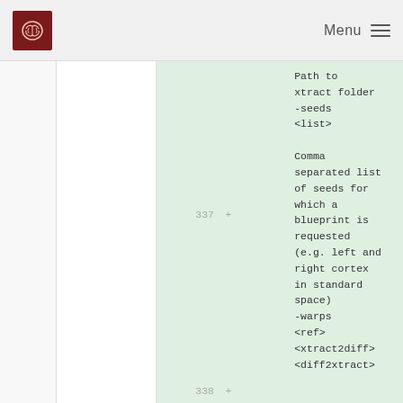Menu
337 +         -seeds
            <list>

            Comma
            separated list
            of seeds for
            which a
            blueprint is
            requested
            (e.g. left and
            right cortex
            in standard
            space)
338 +         -warps
            <ref>
            <xtract2diff>
            <diff2xtract>